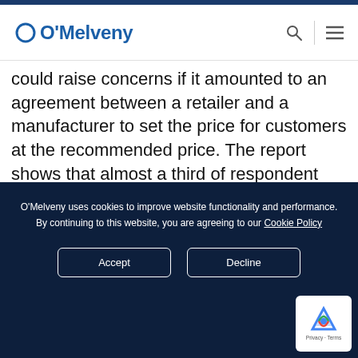O'Melveny
could raise concerns if it amounted to an agreement between a retailer and a manufacturer to set the price for customers at the recommended price. The report shows that almost a third of respondent retailers  normally comply with the price indications given by the manufacturers, while over a quarter state that they never comply and the remainder take a decision
O'Melveny uses cookies to improve website functionality and performance. By continuing to this website, you are agreeing to our Cookie Policy
Accept
Decline